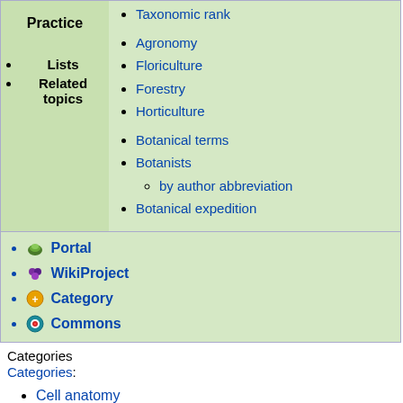Taxonomic rank
Agronomy
Floriculture
Forestry
Horticulture
Botanical terms
Botanists
by author abbreviation
Botanical expedition
Practice
Lists
Related topics
Portal
WikiProject
Category
Commons
Categories
Categories:
Cell anatomy
Plant anatomy
Organelles